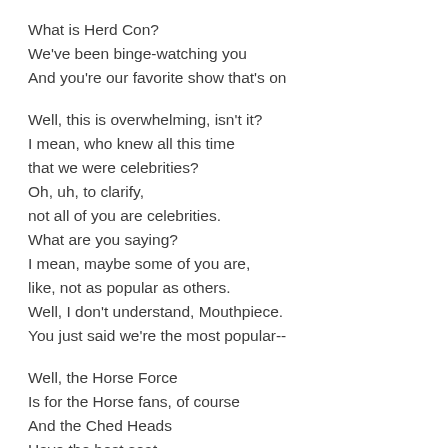What is Herd Con?
We've been binge-watching you
And you're our favorite show that's on
Well, this is overwhelming, isn't it?
I mean, who knew all this time
that we were celebrities?
Oh, uh, to clarify,
not all of you are celebrities.
What are you saying?
I mean, maybe some of you are,
like, not as popular as others.
Well, I don't understand, Mouthpiece.
You just said we're the most popular--
Well, the Horse Force
Is for the Horse fans, of course
And the Ched Heads
Have the best seat...